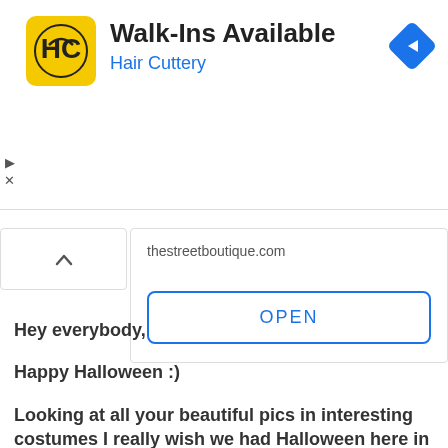[Figure (screenshot): Hair Cuttery advertisement banner with yellow HC logo icon, title 'Walk-Ins Available', subtitle 'Hair Cuttery', and blue navigation diamond icon on the right. Small play and close controls on the left.]
[Figure (screenshot): Map info card panel showing 'thestreetboutique.com' URL and an OPEN button with blue border.]
Hey everybody,
Happy Halloween :)
Looking at all your beautiful pics in interesting costumes I really wish we had Halloween here in India.
But I am going to look for a Halloween party for sure